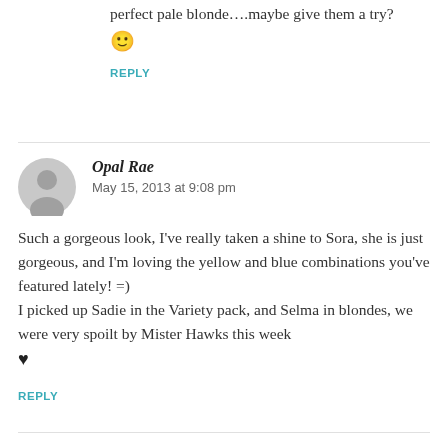perfect pale blonde....maybe give them a try? 🙂
REPLY
Opal Rae
May 15, 2013 at 9:08 pm
Such a gorgeous look, I've really taken a shine to Sora, she is just gorgeous, and I'm loving the yellow and blue combinations you've featured lately! =)
I picked up Sadie in the Variety pack, and Selma in blondes, we were very spoilt by Mister Hawks this week ♥
REPLY